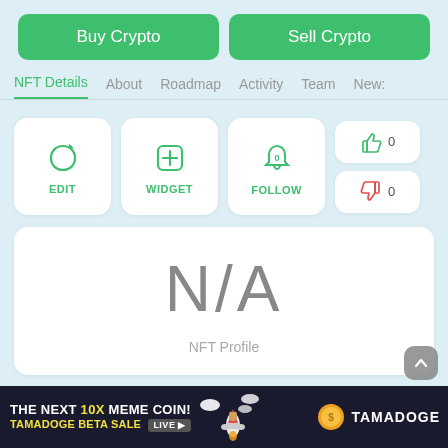[Figure (screenshot): Two green buttons: Buy Crypto and Sell Crypto]
NFT Details  About  Roadmap  Activity  Team  News
[Figure (infographic): Action icons row: Edit (refresh icon), Widget (plus icon), Follow (bell with 0), thumbs up 0, thumbs down 0]
N/A
NFT Profile
[Figure (infographic): Ad banner: THE NEXT 10X MEME COIN! TAMADOGE BETA SALE LIVE - Tamadoge logo with rocket and dog illustration]